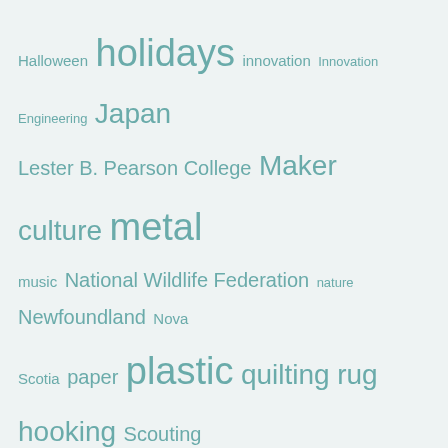[Figure (infographic): Tag cloud with various craft, nature, and cultural topics in teal/green color at varying font sizes. Tags include: Halloween, holidays, innovation, Innovation Engineering, Japan, Lester B. Pearson College, Maker culture, metal, music, National Wildlife Federation, nature, Newfoundland, Nova Scotia, paper, plastic, quilting, rug hooking, Scouting, sewing, small business, storytelling, t-shirts, taiko, toys, trash fashion, weaving, wood, wool, yarn]
© 2022 Trashmagination
Privacy Policy
Terms and Conditions